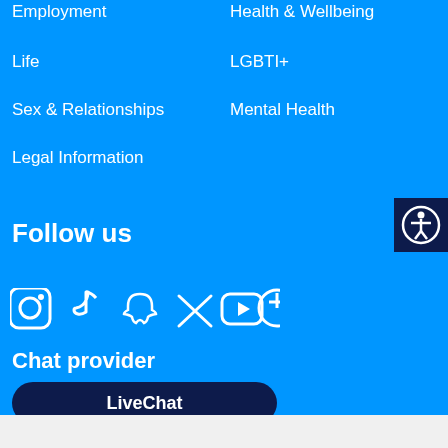Employment
Health & Wellbeing
Life
LGBTI+
Sex & Relationships
Mental Health
Legal Information
Follow us
[Figure (infographic): Social media icons: Instagram, TikTok, Snapchat, Twitter/X, YouTube, Facebook]
Chat provider
LiveChat
[Figure (infographic): Accessibility icon button (person in circle) in dark navy square, top right corner]